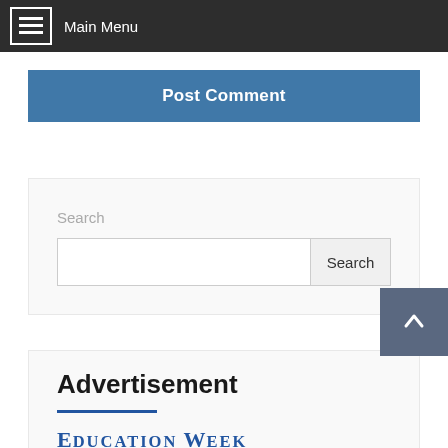Main Menu
Post Comment
Search
Advertisement
[Figure (logo): Education Week logo in blue serif text]